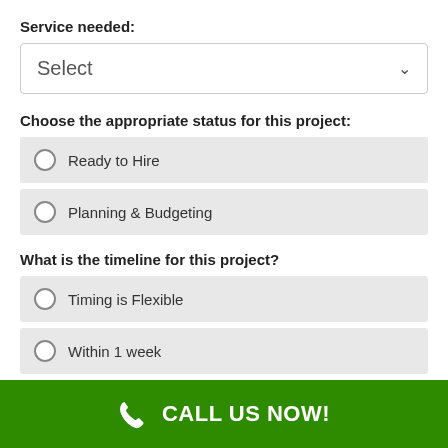Service needed:
Select
Choose the appropriate status for this project:
Ready to Hire
Planning & Budgeting
What is the timeline for this project?
Timing is Flexible
Within 1 week
Areas We Cover Include: 11930, 11937, 11975
[Figure (other): Gray map placeholder area]
CALL US NOW!